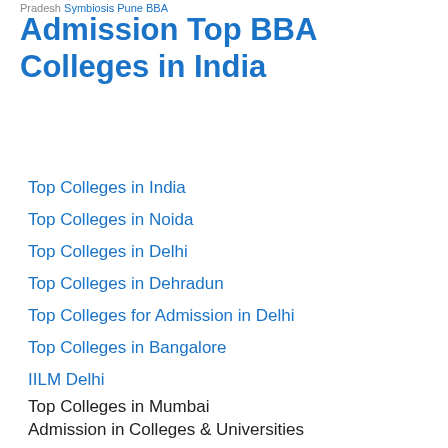Pradesh Symbiosis Pune BBA Admission Top BBA Colleges in India
Symbiosis Pune BBA Admission Top BBA Colleges in India
Top Colleges in India
Top Colleges in Noida
Top Colleges in Delhi
Top Colleges in Dehradun
Top Colleges for Admission in Delhi
Top Colleges in Bangalore
IILM Delhi
Top Colleges in Mumbai
Admission in Colleges & Universities
Top BBA Colleges in Bangalore